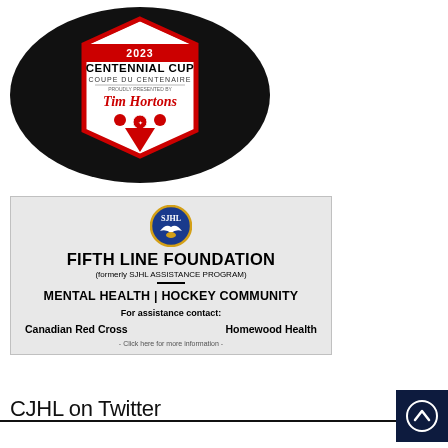[Figure (logo): Hockey puck with 2023 Centennial Cup / Coupe du Centenaire presented by Tim Hortons logo in center]
[Figure (infographic): Fifth Line Foundation (formerly SJHL Assistance Program) banner with SJHL logo, tagline MENTAL HEALTH | HOCKEY COMMUNITY, listing Canadian Red Cross and Homewood Health as assistance contacts. Link: Click here for more information.]
CJHL on Twitter